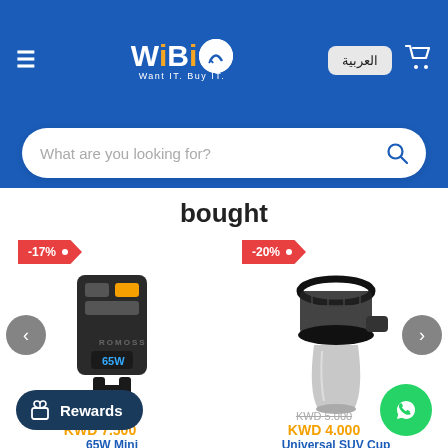WiBiO - Want IT. Buy IT.
What are you looking for?
bought
[Figure (photo): Black 65W Mini USB wall charger with LED display]
[Figure (photo): Universal SUV car cup holder accessory]
65W Mini W / USB ...
Universal SUV Cup Holder fo...
KWD 7.500
KWD 4.000
Rewards